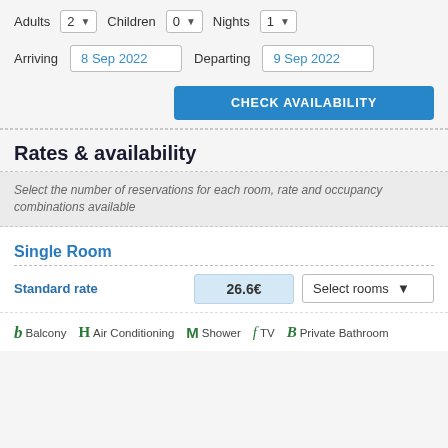Adults 2  Children 0  Nights 1
Arriving 8 Sep 2022  Departing 9 Sep 2022
CHECK AVAILABILITY
Rates & availability
Select the number of reservations for each room, rate and occupancy combinations available
Single Room
Standard rate  26.6€  Select rooms
b Balcony  H Air Conditioning  M Shower  f TV  B Private Bathroom